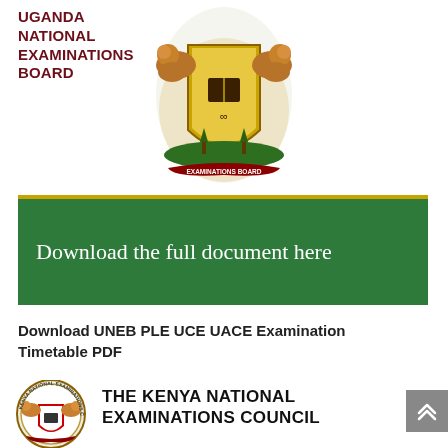UGANDA NATIONAL EXAMINATIONS BOARD
[Figure (logo): Uganda National Examinations Board coat of arms / crest — two lions holding a shield with a book and infinity symbol, with banner reading EXAMINATIONS BOARD]
[Figure (screenshot): Green banner button with gold top border reading: Download the full document here]
Download UNEB PLE UCE UACE Examination Timetable PDF
[Figure (logo): The Kenya National Examinations Council circular seal — two lions with a shield, text KENYA NATIONAL EXAMINATIONS COUNCIL around the border]
THE KENYA NATIONAL EXAMINATIONS COUNCIL